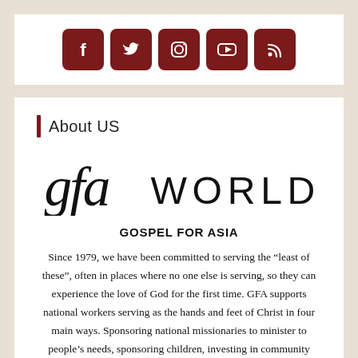[Figure (other): Social media icons: Facebook, Twitter, Instagram, YouTube, RSS — dark red rounded square buttons in a row]
About US
[Figure (logo): GFA World logo — stylized 'gfa' in italic serif with 'WORLD' in large spaced sans-serif capitals]
GOSPEL FOR ASIA
Since 1979, we have been committed to serving the “least of these”, often in places where no one else is serving, so they can experience the love of God for the first time. GFA supports national workers serving as the hands and feet of Christ in four main ways. Sponsoring national missionaries to minister to people’s needs, sponsoring children, investing in community development and helping families in need of care or during